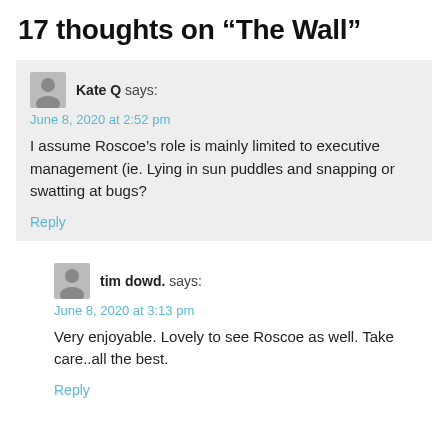17 thoughts on “The Wall”
Kate Q says:
June 8, 2020 at 2:52 pm
I assume Roscoe’s role is mainly limited to executive management (ie. Lying in sun puddles and snapping or swatting at bugs?
Reply
tim dowd. says:
June 8, 2020 at 3:13 pm
Very enjoyable. Lovely to see Roscoe as well. Take care..all the best.
Reply